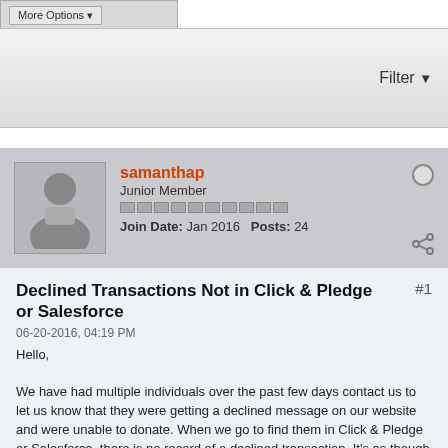More Options
Filter
samanthap
Junior Member
Join Date: Jan 2016   Posts: 24
Declined Transactions Not in Click & Pledge or Salesforce
06-20-2016, 04:19 PM
Hello,

We have had multiple individuals over the past few days contact us to let us know that they were getting a declined message on our website and were unable to donate. When we go to find them in Click & Pledge or Salesforce, there is no record of a declined transaction. It's as though the information never made it to Click & Pledge, but, using form as a service, we have set our website to display a different error message in the off chance that Click and Pledge is unreachable. Is there any reason other than a declined transaction that a declined message might be communicated to our website through form as a service?